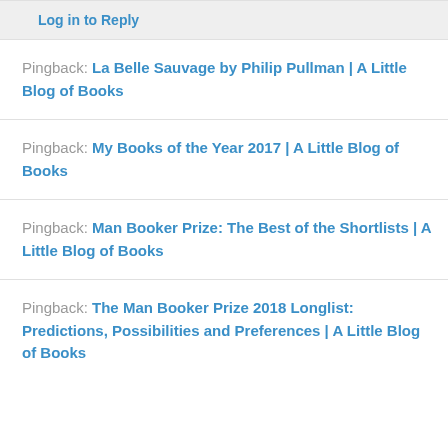Log in to Reply
Pingback: La Belle Sauvage by Philip Pullman | A Little Blog of Books
Pingback: My Books of the Year 2017 | A Little Blog of Books
Pingback: Man Booker Prize: The Best of the Shortlists | A Little Blog of Books
Pingback: The Man Booker Prize 2018 Longlist: Predictions, Possibilities and Preferences | A Little Blog of Books